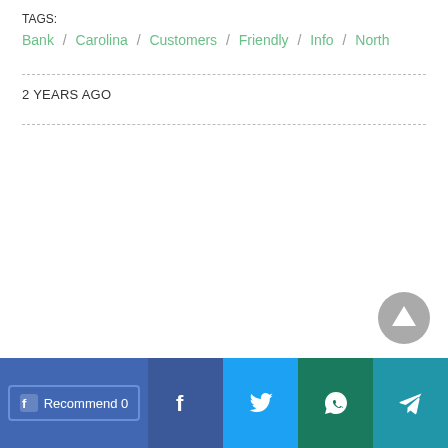TAGS:
Bank / Carolina / Customers / Friendly / Info / North
2 YEARS AGO
Recommend 0 | Facebook | Twitter | WhatsApp | Telegram